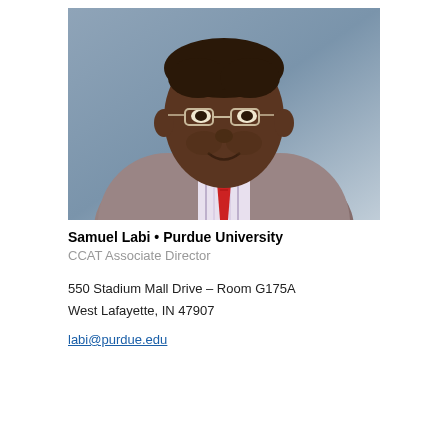[Figure (photo): Professional headshot of Samuel Labi, a man wearing glasses, a gray-brown suit jacket, striped dress shirt, and red tie, photographed against a blue-gray background.]
Samuel Labi • Purdue University
CCAT Associate Director
550 Stadium Mall Drive – Room G175A
West Lafayette, IN 47907
labi@purdue.edu